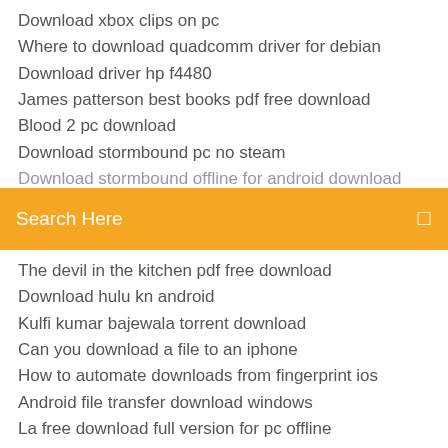Download xbox clips on pc
Where to download quadcomm driver for debian
Download driver hp f4480
James patterson best books pdf free download
Blood 2 pc download
Download stormbound pc no steam
[Figure (screenshot): Orange search bar with text 'Search Here' and a search icon on the right]
The devil in the kitchen pdf free download
Download hulu kn android
Kulfi kumar bajewala torrent download
Can you download a file to an iphone
How to automate downloads from fingerprint ios
Android file transfer download windows
La free download full version for pc offline
How to download zip mods to beamng
Prey day survival hack apk download
Latest tom and jerry cartoon mp4 download